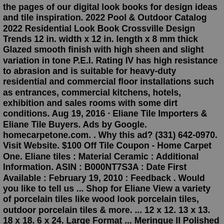the pages of our digital look books for design ideas and tile inspiration. 2022 Pool & Outdoor Catalog 2022 Residential Look Book Crossville Design Trends 12 in. width x 12 in. length x 8 mm thick Glazed smooth finish with high sheen and slight variation in tone P.E.I. Rating IV has high resistance to abrasion and is suitable for heavy-duty residential and commercial floor installations such as entrances, commercial kitchens, hotels, exhibition and sales rooms with some dirt conditions. Aug 19, 2016 · Eliane Tile Importers & Eliane Tile Buyers. Ads by Google. homecarpetone.com. . Why this ad? (331) 642-0970. Visit Website. $100 Off Tile Coupon - Home Carpet One. Eliane tiles : Material Ceramic : Additional Information. ASIN : B000NT7S3A : Date First Available : February 19, 2010 : Feedback . Would you like to tell us ... Shop for Eliane View a variety of porcelain tiles like wood look porcelain tiles, outdoor porcelain tiles & more. ... 12 x 12. 13 x 13. 18 x 18. 6 x 24. Large Format ... Meringue II Polished Ceramic Tile. $0.57 / piece Size: 3 x 12. Add